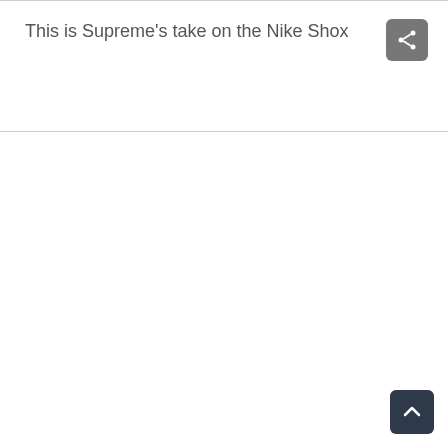This is Supreme’s take on the Nike Shox